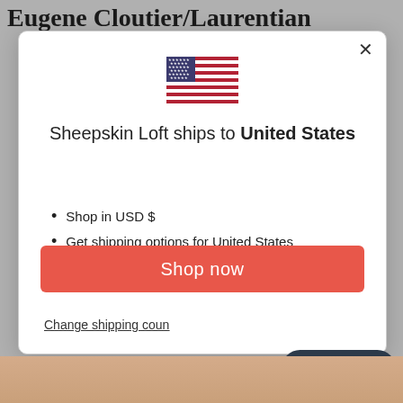Eugene Cloutier/Laurentian
[Figure (screenshot): A modal dialog popup on a website. Contains a US flag icon, text 'Sheepskin Loft ships to United States', bullet points listing 'Shop in USD $' and 'Get shipping options for United States', a red 'Shop now' button, and a 'Change shipping country' link. A 'Chat with us' rounded dark button overlaps the bottom right corner of the modal.]
Sheepskin Loft ships to United States
Shop in USD $
Get shipping options for United States